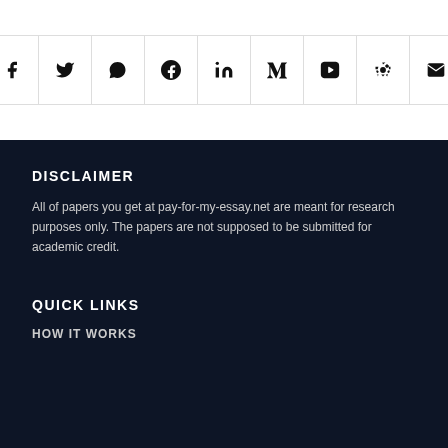[Figure (other): Social media sharing buttons bar with icons: Facebook, Twitter, WhatsApp, Pinterest, LinkedIn, Tumblr, VK, Reddit, Email]
DISCLAIMER
All of papers you get at pay-for-my-essay.net are meant for research purposes only. The papers are not supposed to be submitted for academic credit.
QUICK LINKS
HOW IT WORKS